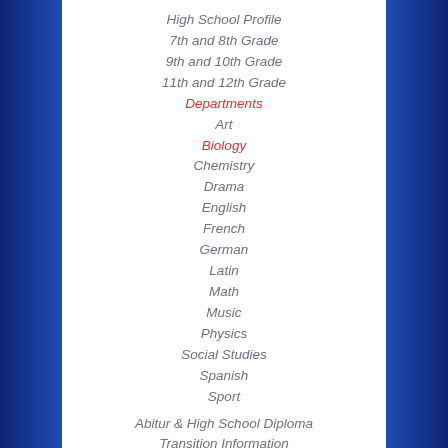High School Profile
7th and 8th Grade
9th and 10th Grade
11th and 12th Grade
Departments
Art
Biology
Chemistry
Drama
English
French
German
Latin
Math
Music
Physics
Social Studies
Spanish
Sport
Abitur & High School Diploma
Transition Information
Faculty/Staff